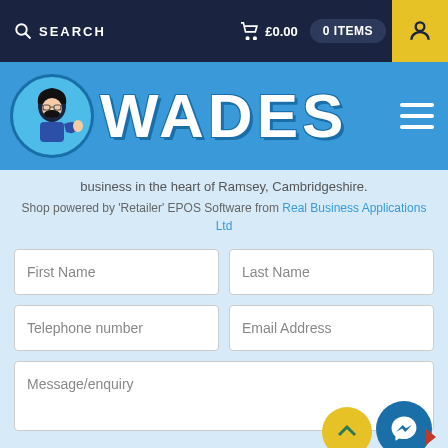SEARCH  £0.00  0 ITEMS
[Figure (logo): Wades shop logo with cartoon character and WADES text on blue header bar]
business in the heart of Ramsey, Cambridgeshire.
Shop powered by 'Retailer' EPOS Software from Real Business Applications Ltd
First Name
Last Name
Telephone number
Email Address
Message/enquiry
Receive news and special offers from Wades